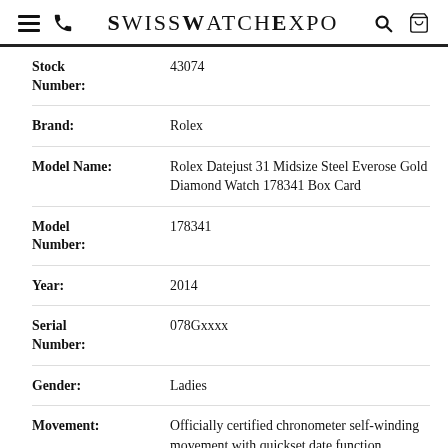SwissWatchExpo
| Field | Value |
| --- | --- |
| Stock Number: | 43074 |
| Brand: | Rolex |
| Model Name: | Rolex Datejust 31 Midsize Steel Everose Gold Diamond Watch 178341 Box Card |
| Model Number: | 178341 |
| Year: | 2014 |
| Serial Number: | 078Gxxxx |
| Gender: | Ladies |
| Movement: | Officially certified chronometer self-winding movement with quickset date function. |
| Jewels: | 31 |